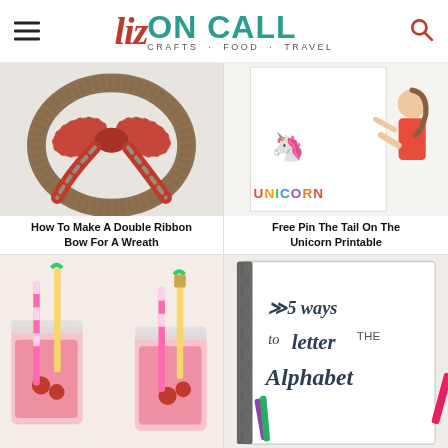Liz ON CALL - CRAFTS · FOOD · TRAVEL
[Figure (photo): Christmas wreath with a large red and plaid double ribbon bow]
How To Make A Double Ribbon Bow For A Wreath
[Figure (photo): Little girl pinning the tail on a unicorn printable poster game]
Free Pin The Tail On The Unicorn Printable
[Figure (photo): Pink raspberry drinks in mason jars with pineapple and striped straws]
[Figure (photo): Spiral notebook showing hand lettering: 5 ways to letter the Alphabet]